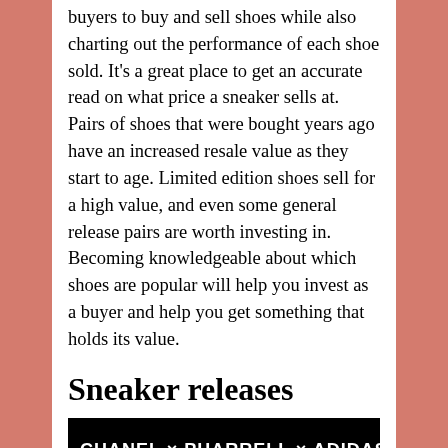buyers to buy and sell shoes while also charting out the performance of each shoe sold. It's a great place to get an accurate read on what price a sneaker sells at. Pairs of shoes that were bought years ago have an increased resale value as they start to age. Limited edition shoes sell for a high value, and even some general release pairs are worth investing in. Becoming knowledgeable about which shoes are popular will help you invest as a buyer and help you get something that holds its value.
Sneaker releases
[Figure (photo): Black background image with white bold text reading 'CHANEL x PHARRELL x ADIDAS' with a white rectangular box below]